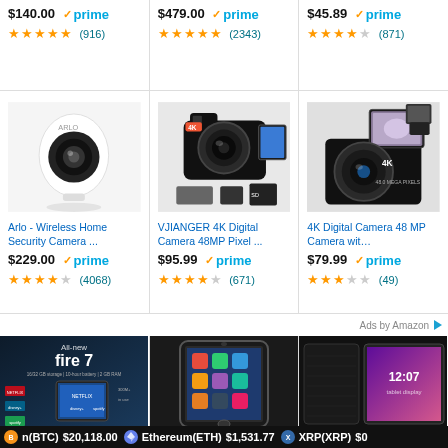$140.00 ✓prime ★★★★★ (916)
$479.00 ✓prime ★★★★★ (2343)
$45.89 ✓prime ★★★★☆ (871)
[Figure (photo): Arlo wireless home security camera - white dome shaped camera]
Arlo - Wireless Home Security Camera ...
$229.00 ✓prime ★★★★☆ (4068)
[Figure (photo): VJIANGER 4K Digital Camera 48MP Pixel - black DSLR style camera with accessories]
VJIANGER 4K Digital Camera 48MP Pixel ...
$95.99 ✓prime ★★★★☆ (671)
[Figure (photo): 4K Digital Camera 48 MP Camera with accessories - black compact camera]
4K Digital Camera 48 MP Camera wit…
$79.99 ✓prime ★★★☆☆ (49)
Ads by Amazon ▷
[Figure (photo): Amazon Fire 7 tablet advertisement - All-new fire 7]
[Figure (photo): iPad tablet - black tablet showing home screen]
[Figure (photo): Tablet with black case/cover]
n(BTC) $20,118.00   Ethereum(ETH) $1,531.77   XRP(XRP) $0…